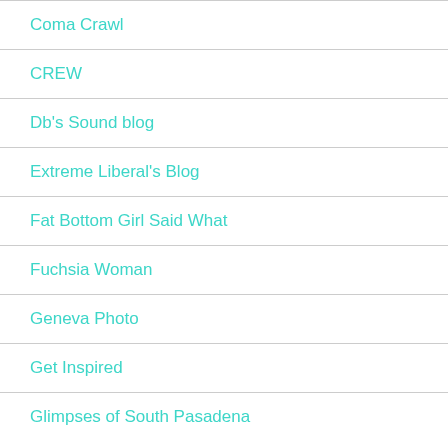Coma Crawl
CREW
Db's Sound blog
Extreme Liberal's Blog
Fat Bottom Girl Said What
Fuchsia Woman
Geneva Photo
Get Inspired
Glimpses of South Pasadena